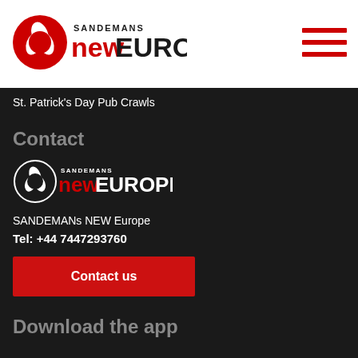[Figure (logo): SANDEMANs NEW EUROPE logo with red circular leaf icon and text]
[Figure (other): Hamburger menu icon with three red horizontal lines]
St. Patrick's Day Pub Crawls
Contact
[Figure (logo): SANDEMANs NEW EUROPE white logo on dark background]
SANDEMANs NEW Europe
Tel: +44 7447293760
Contact us
Download the app